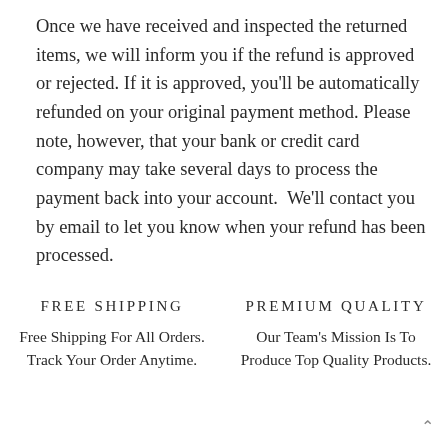Once we have received and inspected the returned items, we will inform you if the refund is approved or rejected. If it is approved, you'll be automatically refunded on your original payment method. Please note, however, that your bank or credit card company may take several days to process the payment back into your account.  We'll contact you by email to let you know when your refund has been processed.
FREE SHIPPING
Free Shipping For All Orders. Track Your Order Anytime.
PREMIUM QUALITY
Our Team's Mission Is To Produce Top Quality Products.